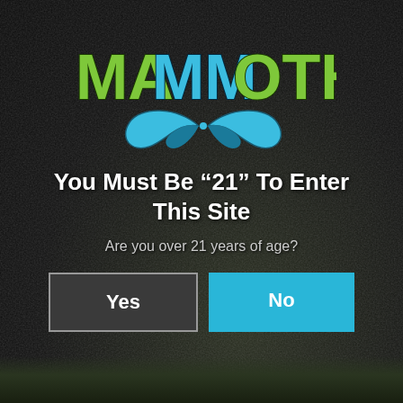[Figure (logo): Mammoth brand logo with green and blue lettering and blue infinity/tusk symbol beneath]
You Must Be “21” To Enter This Site
Are you over 21 years of age?
Yes
No